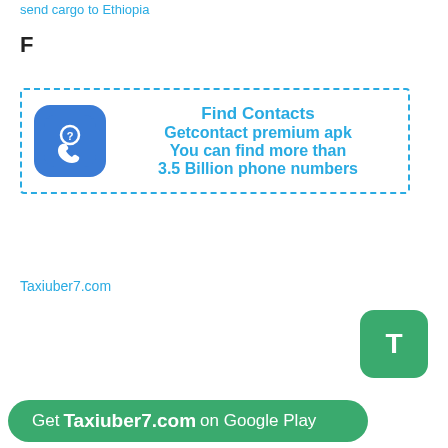send cargo to Ethiopia
F
[Figure (infographic): Advertisement banner with dashed blue border. Shows a phone/contact app icon on the left (blue rounded square with phone and question mark icon). Text on right reads: Find Contacts / Getcontact premium apk / You can find more than / 3.5 Billion phone numbers]
Taxiuber7.com
[Figure (other): Green rounded square button with white letter T]
Get Taxiuber7.com on Google Play